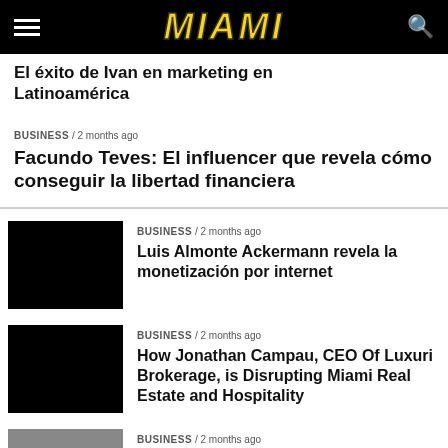MIAMI
El éxito de Ivan en marketing en Latinoamérica
BUSINESS / 2 months ago
Facundo Teves: El influencer que revela cómo conseguir la libertad financiera
BUSINESS / 2 months ago
Luis Almonte Ackermann revela la monetización por internet
BUSINESS / 2 months ago
How Jonathan Campau, CEO Of Luxuri Brokerage, is Disrupting Miami Real Estate and Hospitality
BUSINESS / 2 months ago